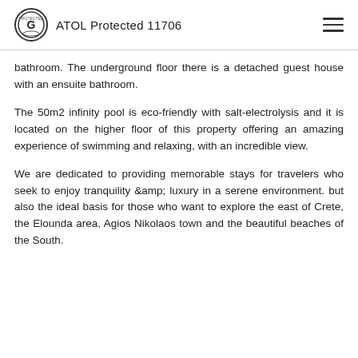ATOL Protected 11706
bathroom. The underground floor there is a detached guest house with an ensuite bathroom.
The 50m2 infinity pool is eco-friendly with salt-electrolysis and it is located on the higher floor of this property offering an amazing experience of swimming and relaxing, with an incredible view.
We are dedicated to providing memorable stays for travelers who seek to enjoy tranquility &amp; luxury in a serene environment. but also the ideal basis for those who want to explore the east of Crete, the Elounda area, Agios Nikolaos town and the beautiful beaches of the South.